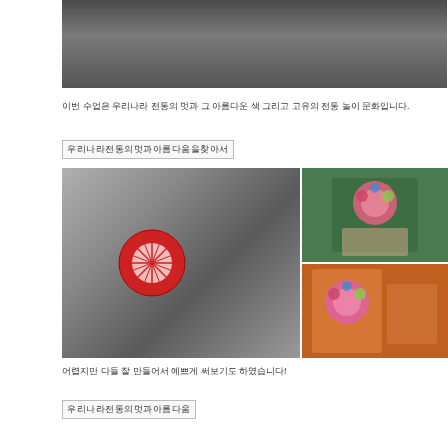[Figure (photo): Top photo showing a person in a classroom setting, cropped at top]
이번 수업은 우리나라 전통의 멋과 그 아름다운 색 그리고 고유의 전통 놀이 문화입니다.
우리나라전통의멋과아름다움을찾아서
[Figure (photo): Three photos: left shows a red origami paper umbrella/flower held up in a classroom; top right shows a child with colorful craft on head; bottom right shows a child holding crafts made of colorful fabric flowers]
어렵지만 다들 잘 만들어서 예쁘게 써보기도 하였습니다!
우리나라전통의멋과아름다움